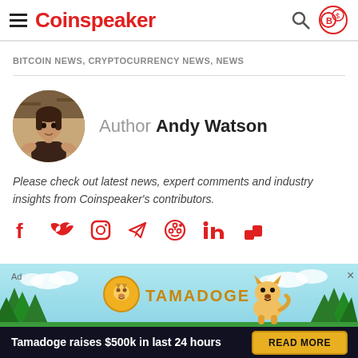Coinspeaker
BITCOIN NEWS, CRYPTOCURRENCY NEWS, NEWS
Author Andy Watson
Please check out latest news, expert comments and industry insights from Coinspeaker's contributors.
[Figure (infographic): Tamadoge advertisement banner with logo, dog mascot, trees, and 'READ MORE' button. Text: 'Tamadoge raises $500k in last 24 hours']